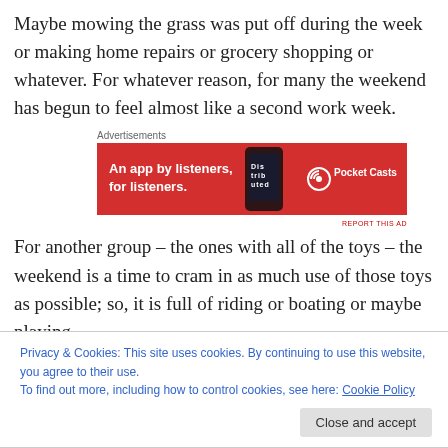Maybe mowing the grass was put off during the week or making home repairs or grocery shopping or whatever. For whatever reason, for many the weekend has begun to feel almost like a second work week.
[Figure (infographic): Pocket Casts advertisement banner: red background with text 'An app by listeners, for listeners.' and a phone graphic, and Pocket Casts logo.]
For another group – the ones with all of the toys – the weekend is a time to cram in as much use of those toys as possible; so, it is full of riding or boating or maybe playing
Privacy & Cookies: This site uses cookies. By continuing to use this website, you agree to their use.
To find out more, including how to control cookies, see here: Cookie Policy